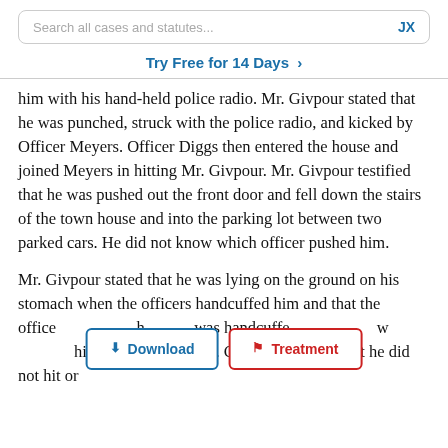Search all cases and statutes...   JX
Try Free for 14 Days >
him with his hand-held police radio. Mr. Givpour stated that he was punched, struck with the police radio, and kicked by Officer Meyers. Officer Diggs then entered the house and joined Meyers in hitting Mr. Givpour. Mr. Givpour testified that he was pushed out the front door and fell down the stairs of the town house and into the parking lot between two parked cars. He did not know which officer pushed him.
Mr. Givpour stated that he was lying on the ground on his stomach when the officers handcuffed him and that the officer[...] h[...] was handcuffed[...] w[...] his head and face. Mr. Givpour testified that he did not hit or
[Figure (screenshot): Two popup buttons overlaid on text: a 'Download' button with blue border and a 'Treatment' button with red border]